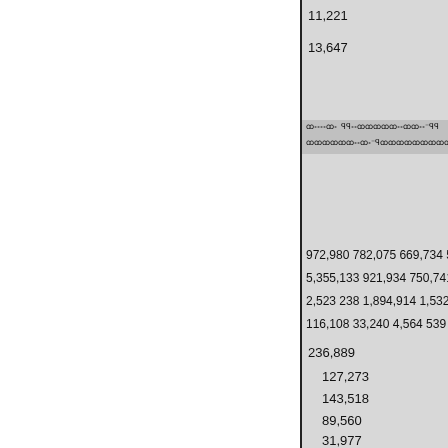|  | 11,221 |
|  | 13,647 |
| [header row - small text] |  |
|  | 972,980 782,075 669,734 573,19... |
|  | 5,355,133 921,934 750,741 638,... |
|  | 2,523 238 1,894,914 1,532,816 1... |
|  | 116,108 33,240 4,564 539 |
|  | 236,889 |
|  | 127,273 |
|  | 143,518 |
|  | 89,560 |
|  | 31,977 |